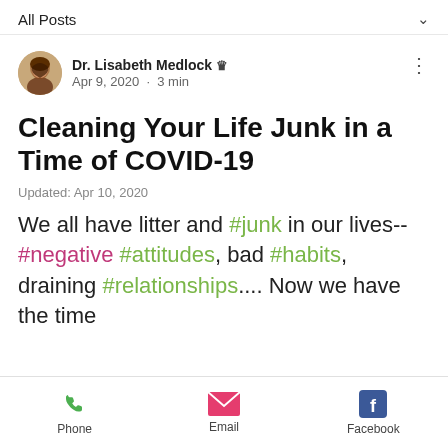All Posts
Dr. Lisabeth Medlock · Apr 9, 2020 · 3 min
Cleaning Your Life Junk in a Time of COVID-19
Updated: Apr 10, 2020
We all have litter and #junk in our lives--#negative #attitudes, bad #habits, draining #relationships.... Now we have the time
Phone  Email  Facebook